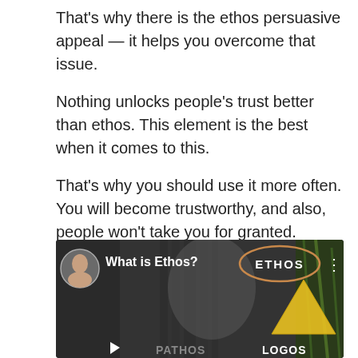That's why there is the ethos persuasive appeal — it helps you overcome that issue.
Nothing unlocks people's trust better than ethos. This element is the best when it comes to this.
That's why you should use it more often. You will become trustworthy, and also, people won't take you for granted.
[Figure (screenshot): Video thumbnail showing a man presenting, with 'What is Ethos?' title, an ETHOS oval label, a yellow triangle, and PATHOS / LOGOS text at the bottom]